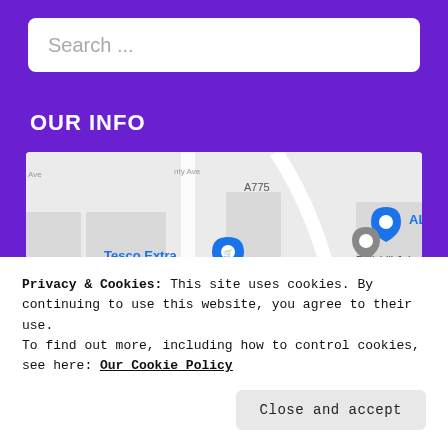Search ...
OUR INFO
[Figure (map): Google Maps screenshot showing Bellshill area including Tesco Extra, Morrisons, ALDI, Bellshill Jobcentre, streets including Main St, Dean St, Bruce St, John St, Muirmadkin Rd, and road designations A775, A721, MOSS]
Privacy & Cookies: This site uses cookies. By continuing to use this website, you agree to their use.
To find out more, including how to control cookies, see here: Our Cookie Policy
Close and accept
ML41BA